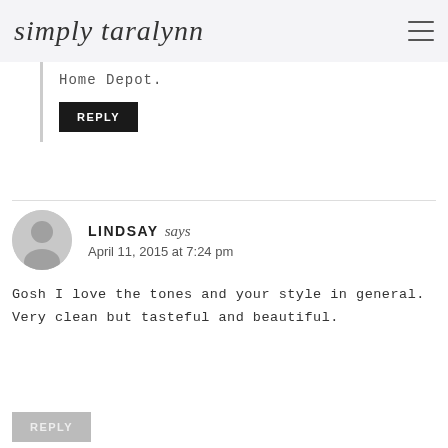simply taralynn
Home Depot.
REPLY
LINDSAY says
April 11, 2015 at 7:24 pm
Gosh I love the tones and your style in general. Very clean but tasteful and beautiful.
REPLY